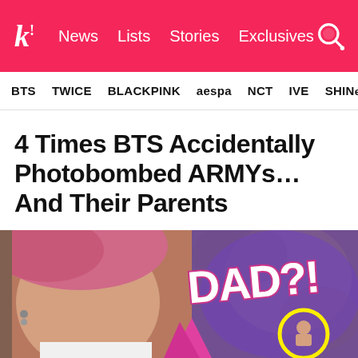Koreaboo — News | Lists | Stories | Exclusives
BTS  TWICE  BLACKPINK  aespa  NCT  IVE  SHINee
4 Times BTS Accidentally Photobombed ARMYs…And Their Parents
They showed up out of nowhere.
[Figure (photo): A BTS member with pink hair in a white shirt, with bold text overlay reading DAD?! in white with pink outline, and a yellow circle graphic and pink arrow element]